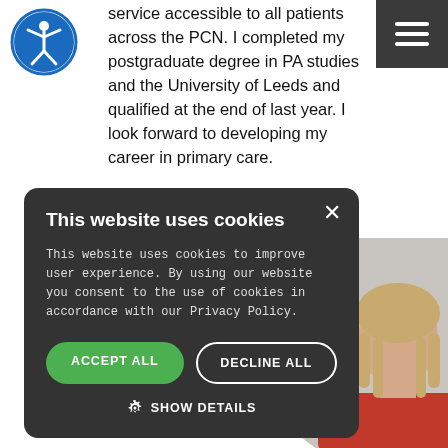service accessible to all patients across the PCN. I completed my postgraduate degree in PA studies and the University of Leeds and qualified at the end of last year. I look forward to developing my career in primary care.
[Figure (photo): Partial photo of a person with light hair, visible from chin down, wearing a red top, against a grey circular background]
This website uses cookies

This website uses cookies to improve user experience. By using our website you consent to the use of cookies in accordance with our Privacy Policy.

ACCEPT ALL   DECLINE ALL

SHOW DETAILS